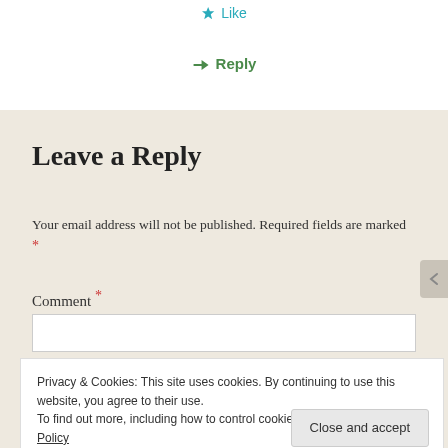Like
Reply
Leave a Reply
Your email address will not be published. Required fields are marked *
Comment *
Privacy & Cookies: This site uses cookies. By continuing to use this website, you agree to their use.
To find out more, including how to control cookies, see here: Cookie Policy
Close and accept